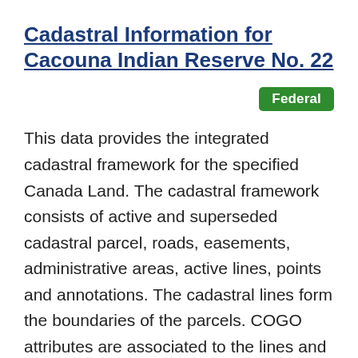Cadastral Information for Cacouna Indian Reserve No. 22
Federal
This data provides the integrated cadastral framework for the specified Canada Land. The cadastral framework consists of active and superseded cadastral parcel, roads, easements, administrative areas, active lines, points and annotations. The cadastral lines form the boundaries of the parcels. COGO attributes are associated to the lines and depict the adjusted framework of the cadastral